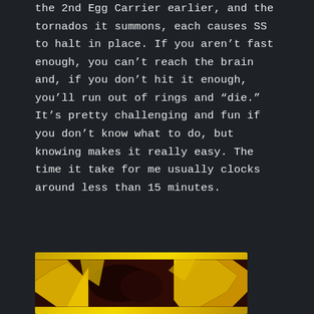the 2nd Egg Carrier earlier, and the tornados it summons, each causes SS to halt in place. If you aren't fast enough, you can't reach the brain and, if you don't hit it enough, you'll run out of rings and "die." It's pretty challenging and fun if you don't know what to do, but knowing makes it really easy. The time it take for me usually clocks around less than 15 minutes.
[Figure (photo): Partial view of a yellow game character or object, likely from a Sonic the Hedgehog game, showing yellow angular shapes against a dark red/orange background.]